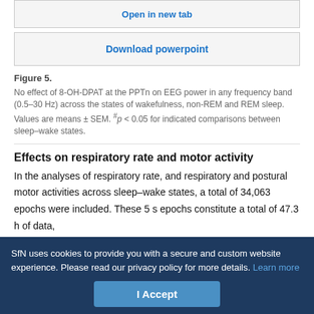Open in new tab
Download powerpoint
Figure 5.

No effect of 8-OH-DPAT at the PPTn on EEG power in any frequency band (0.5–30 Hz) across the states of wakefulness, non-REM and REM sleep. Values are means ± SEM. #p < 0.05 for indicated comparisons between sleep–wake states.
Effects on respiratory rate and motor activity
In the analyses of respiratory rate, and respiratory and postural motor activities across sleep–wake states, a total of 34,063 epochs were included. These 5 s epochs constitute a total of 47.3 h of data,
SfN uses cookies to provide you with a secure and custom website experience. Please read our privacy policy for more details. Learn more
I Accept